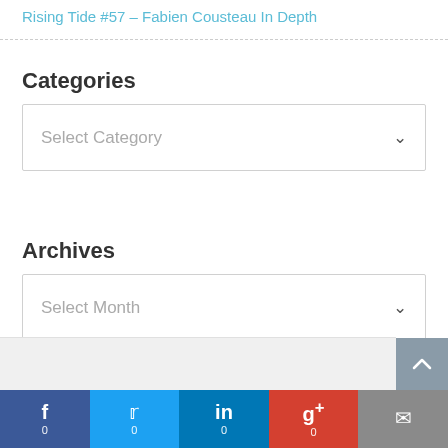Rising Tide #57 – Fabien Cousteau In Depth
Categories
Select Category
Archives
Select Month
f 0  Twitter 0  in 0  g+ 0  mail 0